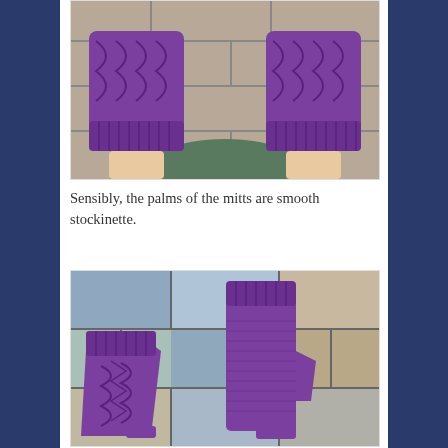[Figure (photo): Two hands wearing purple fingerless knitted mitts with cable/basketweave texture on the back, placed on a stone tile surface. The person is wearing a teal/green garment underneath.]
Sensibly, the palms of the mitts are smooth stockinette.
[Figure (photo): Two purple fingerless knitted mitts laid flat on a stone tile surface, showing both the textured back (with cable/leaf pattern) and the smooth stockinette palm side.]